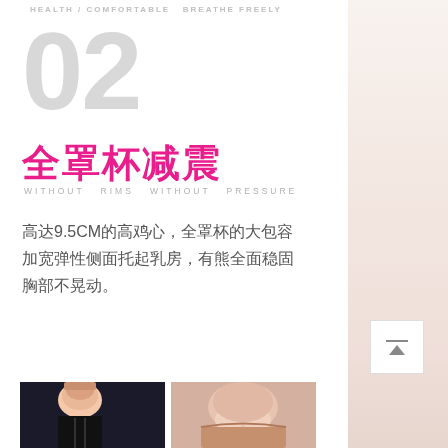HEALTH / COMFORTABLE BREATHE FREELY
02
全罩杯减震
WITHOUT RIMS WITHOUT PRESSURE
高达9.5CM的高鸡心，全罩杯的大包容加宽弹性侧面托起乳房，有熊全面稳固胸部不晃动。
[Figure (photo): Two photos showing women wearing sports bras/bra tops]
[Figure (photo): Right side model photo, partial view of person]